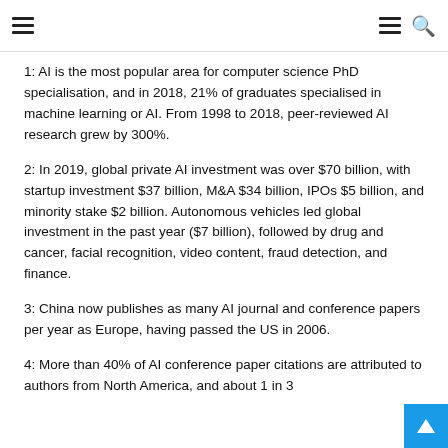Navigation header with hamburger menu icons and search icon
1: AI is the most popular area for computer science PhD specialisation, and in 2018, 21% of graduates specialised in machine learning or AI. From 1998 to 2018, peer-reviewed AI research grew by 300%.
2: In 2019, global private AI investment was over $70 billion, with startup investment $37 billion, M&A $34 billion, IPOs $5 billion, and minority stake $2 billion. Autonomous vehicles led global investment in the past year ($7 billion), followed by drug and cancer, facial recognition, video content, fraud detection, and finance.
3: China now publishes as many AI journal and conference papers per year as Europe, having passed the US in 2006.
4: More than 40% of AI conference paper citations are attributed to authors from North America, and about 1 in 3